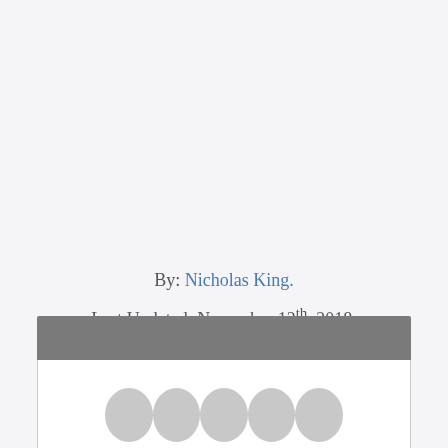By: Nicholas King.
Last Updated: November 12th, 2018.